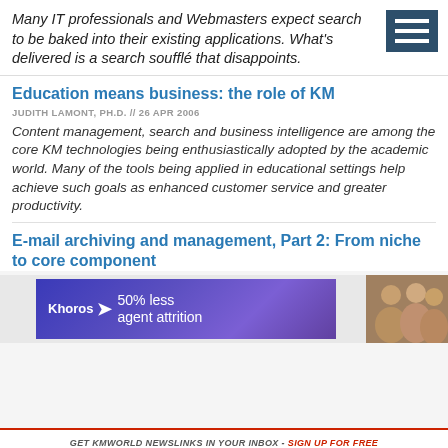Many IT professionals and Webmasters expect search to be baked into their existing applications. What's delivered is a search soufflé that disappoints.
Education means business: the role of KM
JUDITH LAMONT, PH.D. // 26 APR 2006
Content management, search and business intelligence are among the core KM technologies being enthusiastically adopted by the academic world. Many of the tools being applied in educational settings help achieve such goals as enhanced customer service and greater productivity.
E-mail archiving and management, Part 2: From niche to core component
[Figure (infographic): Advertisement banner for Khoros showing '50% less agent attrition' with logo and photo of people on purple gradient background]
GET KMWORLD NEWSLINKS IN YOUR INBOX - SIGN UP FOR FREE